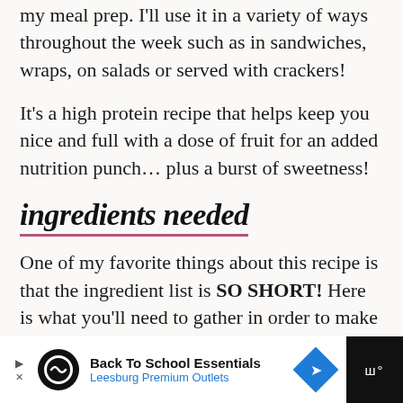my meal prep. I'll use it in a variety of ways throughout the week such as in sandwiches, wraps, on salads or served with crackers!
It's a high protein recipe that helps keep you nice and full with a dose of fruit for an added nutrition punch… plus a burst of sweetness!
ingredients needed
One of my favorite things about this recipe is that the ingredient list is SO SHORT! Here is what you'll need to gather in order to make a batch of turkey salad with grapes:
[Figure (other): Advertisement banner: Back To School Essentials - Leesburg Premium Outlets, with logo circle, blue diamond arrow icon, and dark sidebar with streaming icon]